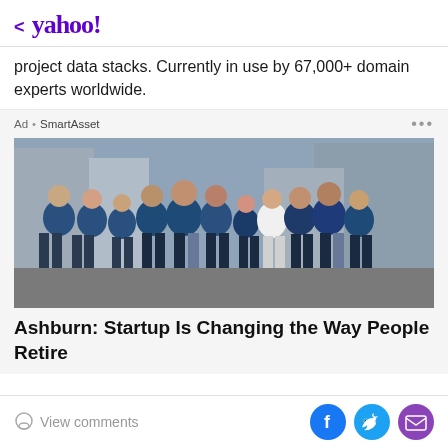< yahoo!
project data stacks. Currently in use by 67,000+ domain experts worldwide.
Ad • SmartAsset
[Figure (photo): Group photo of approximately 11 people wearing blue SmartAsset branded t-shirts standing on a cobblestone street in an urban setting]
Ashburn: Startup Is Changing the Way People Retire
View comments